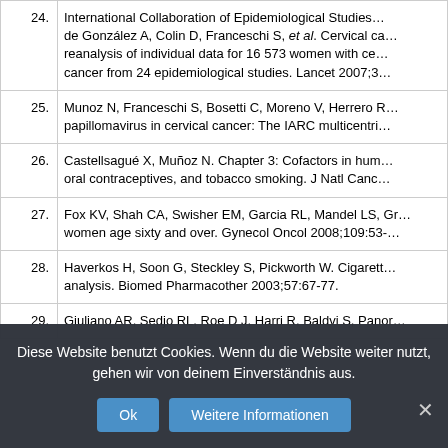24. International Collaboration of Epidemiological Studies de González A, Colin D, Franceschi S, et al. Cervical cancer reanalysis of individual data for 16 573 women with cervical cancer from 24 epidemiological studies. Lancet 2007;3...
25. Munoz N, Franceschi S, Bosetti C, Moreno V, Herrero R... papillomavirus in cervical cancer: The IARC multicentric...
26. Castellsagué X, Muñoz N. Chapter 3: Cofactors in hum... oral contraceptives, and tobacco smoking. J Natl Canc...
27. Fox KV, Shah CA, Swisher EM, Garcia RL, Mandel LS, Gr... women age sixty and over. Gynecol Oncol 2008;109:53-...
28. Haverkos H, Soon G, Steckley S, Pickworth W. Cigarett... analysis. Biomed Pharmacother 2003;57:67-77.
29. Giuliano AR, Sedjo RL, Roe D J, Harri R, Baldvi S, Panor...
Diese Website benutzt Cookies. Wenn du die Website weiter nutzt, gehen wir von deinem Einverständnis aus.